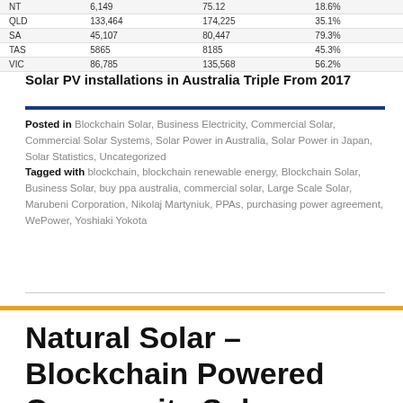|  |  |  |  |
| --- | --- | --- | --- |
| NT | 6,149 | 75.12 | 18.6% |
| QLD | 133,464 | 174,225 | 35.1% |
| SA | 45,107 | 80,447 | 79.3% |
| TAS | 5865 | 8185 | 45.3% |
| VIC | 86,785 | 135,568 | 56.2% |
Solar PV installations in Australia Triple From 2017
Posted in Blockchain Solar, Business Electricity, Commercial Solar, Commercial Solar Systems, Solar Power in Australia, Solar Power in Japan, Solar Statistics, Uncategorized Tagged with blockchain, blockchain renewable energy, Blockchain Solar, Business Solar, buy ppa australia, commercial solar, Large Scale Solar, Marubeni Corporation, Nikolaj Martyniuk, PPAs, purchasing power agreement, WePower, Yoshiaki Yokota
Natural Solar – Blockchain Powered Community Solar